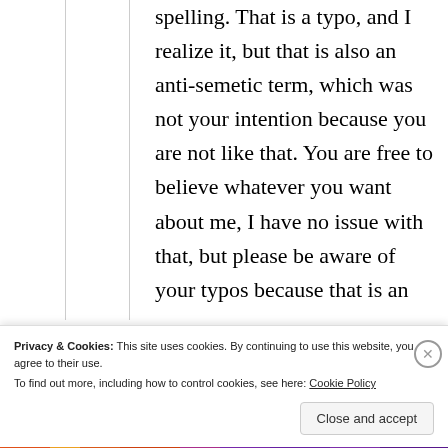spelling. That is a typo, and I realize it, but that is also an anti-semetic term, which was not your intention because you are not like that. You are free to believe whatever you want about me, I have no issue with that, but please be aware of your typos because that is an
Privacy & Cookies: This site uses cookies. By continuing to use this website, you agree to their use. To find out more, including how to control cookies, see here: Cookie Policy
Close and accept